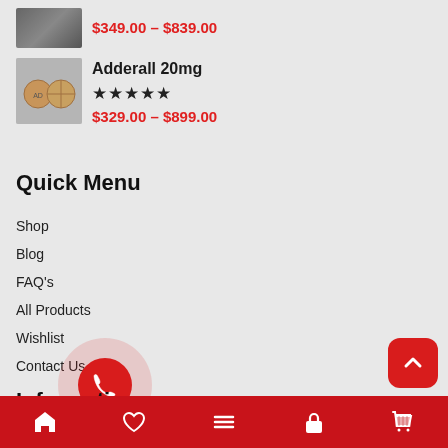$349.00 – $839.00
Adderall 20mg
★★★★★
$329.00 – $899.00
Quick Menu
Shop
Blog
FAQ's
All Products
Wishlist
Contact Us
Information